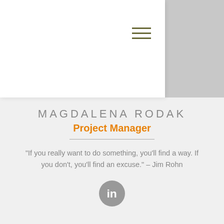[Figure (photo): Profile silhouette placeholder image in gray, partially covered by a white overlay panel with a hamburger menu icon]
MAGDALENA RODAK
Project Manager
"If you really want to do something, you'll find a way. If you don't, you'll find an excuse." – Jim Rohn
[Figure (logo): LinkedIn 'in' logo button, circular gray background]